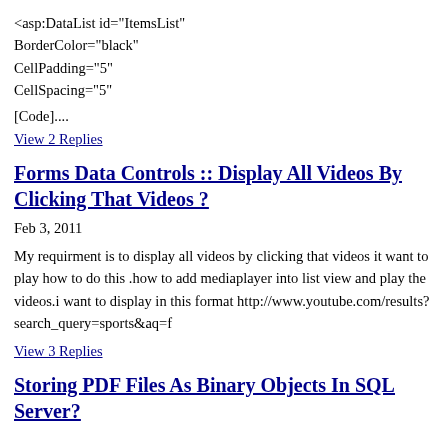<asp:DataList id="ItemsList"
BorderColor="black"
CellPadding="5"
CellSpacing="5"
[Code]....
View 2 Replies
Forms Data Controls :: Display All Videos By Clicking That Videos ?
Feb 3, 2011
My requirment is to display all videos by clicking that videos it want to play how to do this .how to add mediaplayer into list view and play the videos.i want to display in this format http://www.youtube.com/results?search_query=sports&aq=f
View 3 Replies
Storing PDF Files As Binary Objects In SQL Server?